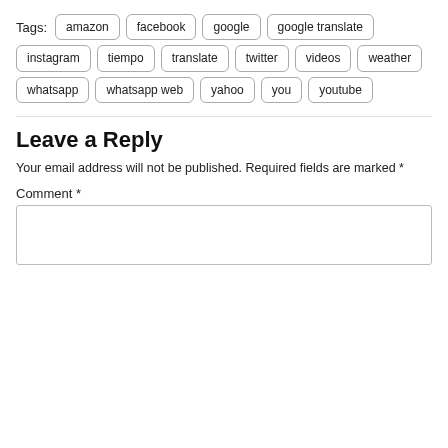Tags: amazon facebook google google translate instagram tiempo translate twitter videos weather whatsapp whatsapp web yahoo you youtube
Leave a Reply
Your email address will not be published. Required fields are marked *
Comment *